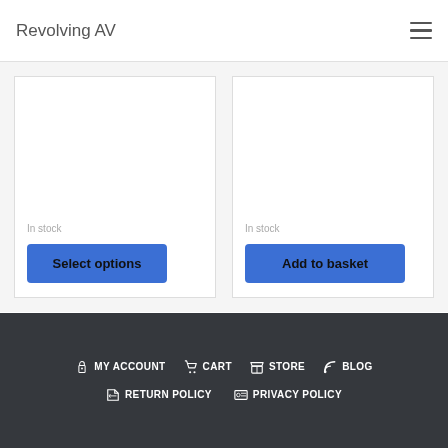Revolving AV
In stock
In stock
Select options
Add to basket
MY ACCOUNT  CART  STORE  BLOG  RETURN POLICY  PRIVACY POLICY